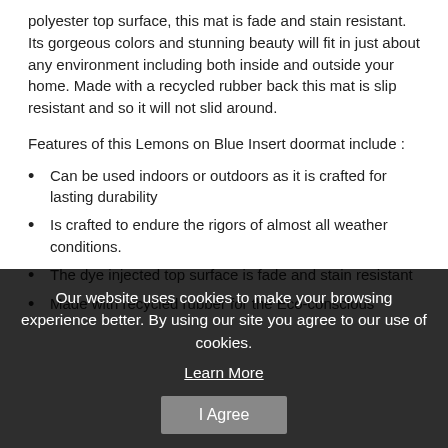polyester top surface, this mat is fade and stain resistant. Its gorgeous colors and stunning beauty will fit in just about any environment including both inside and outside your home. Made with a recycled rubber back this mat is slip resistant and so it will not slid around.
Features of this Lemons on Blue Insert doormat include :
Can be used indoors or outdoors as it is crafted for lasting durability
Is crafted to endure the rigors of almost all weather conditions.
The dye injected top surface is fade and stain resistant
Made with recycled rubber for the Eco-conscious
Our website uses cookies to make your browsing experience better. By using our site you agree to our use of cookies.
Learn More
I Agree